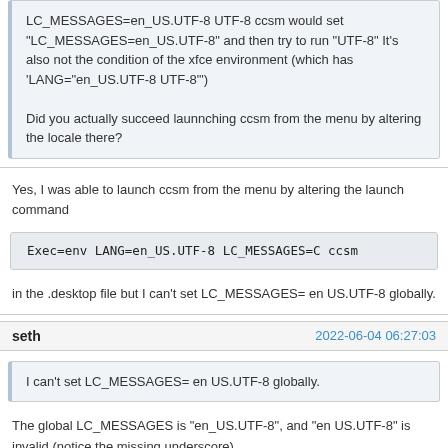LC_MESSAGES=en_US.UTF-8 UTF-8 ccsm would set "LC_MESSAGES=en_US.UTF-8" and then try to run "UTF-8" It's also not the condition of the xfce environment (which has 'LANG="en_US.UTF-8 UTF-8"')
Did you actually succeed launnching ccsm from the menu by altering the locale there?
Yes, I was able to launch ccsm from the menu by altering the launch command
Exec=env LANG=en_US.UTF-8 LC_MESSAGES=C ccsm
in the .desktop file but I can't set LC_MESSAGES= en US.UTF-8 globally.
seth
2022-06-04 06:27:03
I can't set LC_MESSAGES= en US.UTF-8 globally.
The global LC_MESSAGES is "en_US.UTF-8", and "en US.UTF-8" is invalid (notice the missing underscore)
CCSM either requires LC_MESSAGES to be "C" or a valid "LANG"